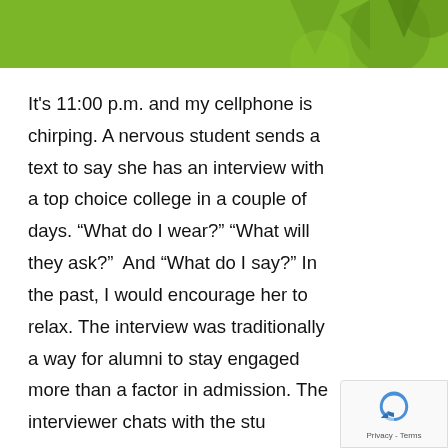[Figure (illustration): Green header banner with decorative shapes (circles, triangles) in darker green tones]
It's 11:00 p.m. and my cellphone is chirping. A nervous student sends a text to say she has an interview with a top choice college in a couple of days. “What do I wear?” “What will they ask?”  And “What do I say?” In the past, I would encourage her to relax. The interview was traditionally a way for alumni to stay engaged more than a factor in admission. The interviewer chats with the stu